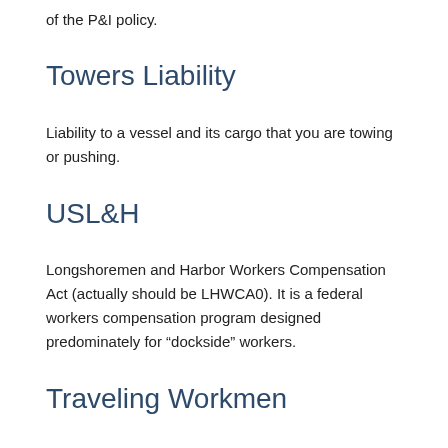of the P&I policy.
Towers Liability
Liability to a vessel and its cargo that you are towing or pushing.
USL&H
Longshoremen and Harbor Workers Compensation Act (actually should be LHWCA0). It is a federal workers compensation program designed predominately for “dockside” workers.
Traveling Workmen
Ship Repairers Liability coverage part is extended to apply